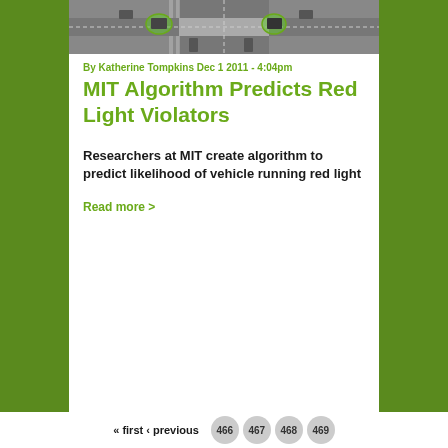[Figure (photo): Aerial black and white photograph of an intersection with vehicles visible, some highlighted in green/color]
By Katherine Tompkins Dec 1 2011 - 4:04pm
MIT Algorithm Predicts Red Light Violators
Researchers at MIT create algorithm to predict likelihood of vehicle running red light
Read more >
« first ‹ previous   466 467 468 469